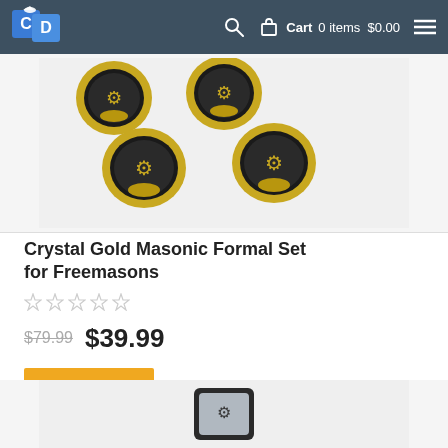CD Cart 0 items $0.00
[Figure (photo): Four gold and black Masonic formal studs with square and compass symbol]
Crystal Gold Masonic Formal Set for Freemasons
★☆☆☆☆ (0 stars rating)
$79.99 $39.99
BUY NOW
[Figure (photo): Black square cufflink with Masonic square and compass symbol on mother of pearl background]